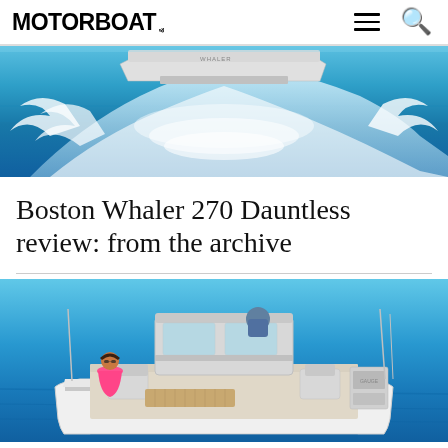MOTORBOAT
[Figure (photo): Aerial/side view of a Boston Whaler motorboat at speed on blue water, creating large wake and white foam spray]
Boston Whaler 270 Dauntless review: from the archive
[Figure (photo): Boston Whaler 270 Dauntless boat on calm blue water with a woman in a pink dress sitting at the stern and a person at the helm console]